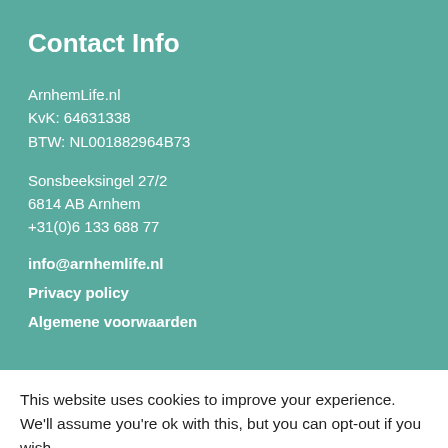Contact Info
ArnhemLife.nl
KvK: 64631338
BTW: NL001882964B73
Sonsbeeksingel 27/2
6814 AB Arnhem
+31(0)6 133 688 77
info@arnhemlife.nl
Privacy policy
Algemene voorwaarden
This website uses cookies to improve your experience. We'll assume you're ok with this, but you can opt-out if you wish. Accept Read More